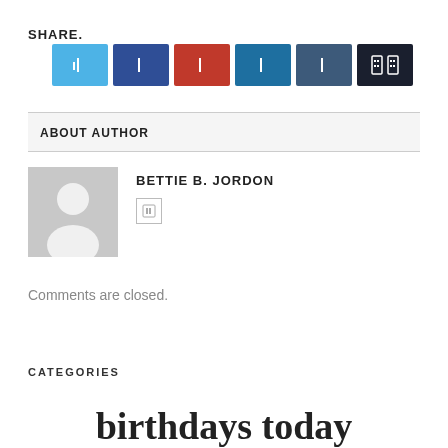SHARE.
[Figure (other): Row of 6 social sharing icon buttons: Twitter (light blue), Facebook (dark blue), Pinterest (red), LinkedIn (medium blue), Tumblr (dark slate blue), More/share (near black with BB icon)]
ABOUT AUTHOR
[Figure (other): Generic author avatar placeholder (grey silhouette of person on grey background)]
BETTIE B. JORDON
Comments are closed.
CATEGORIES
birthdays today